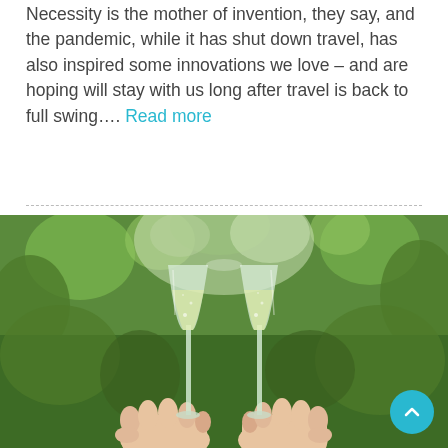Necessity is the mother of invention, they say, and the pandemic, while it has shut down travel, has also inspired some innovations we love – and are hoping will stay with us long after travel is back to full swing…. Read more
[Figure (photo): Two hands holding champagne flutes in a toast, clinking glasses together outdoors in a vineyard with green bokeh background.]